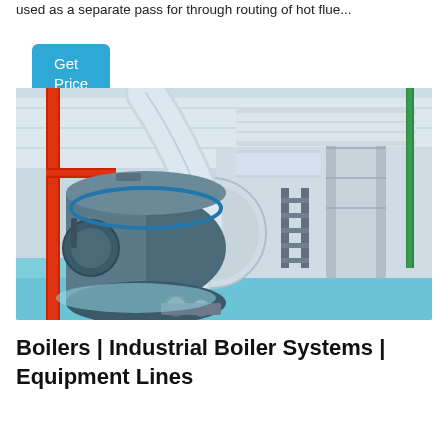used as a separate pass for through routing of hot flue...
Get Price
[Figure (photo): Industrial boiler room showing large cylindrical boiler tanks with silver insulated piping, red pipes, and ductwork in a modern facility with blue-green tinted flooring and white ceiling.]
Boilers | Industrial Boiler Systems | Equipment Lines